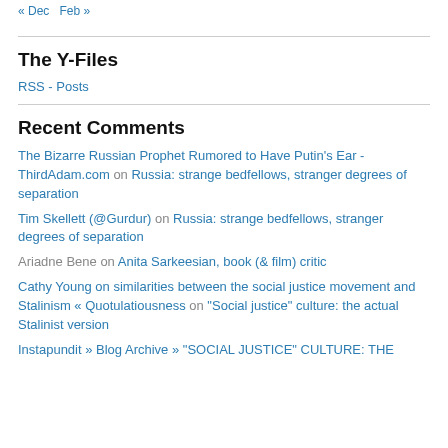« Dec  Feb »
The Y-Files
RSS - Posts
Recent Comments
The Bizarre Russian Prophet Rumored to Have Putin's Ear - ThirdAdam.com on Russia: strange bedfellows, stranger degrees of separation
Tim Skellett (@Gurdur) on Russia: strange bedfellows, stranger degrees of separation
Ariadne Bene on Anita Sarkeesian, book (& film) critic
Cathy Young on similarities between the social justice movement and Stalinism « Quotulatiousness on “Social justice” culture: the actual Stalinist version
Instapundit » Blog Archive » “SOCIAL JUSTICE” CULTURE: THE